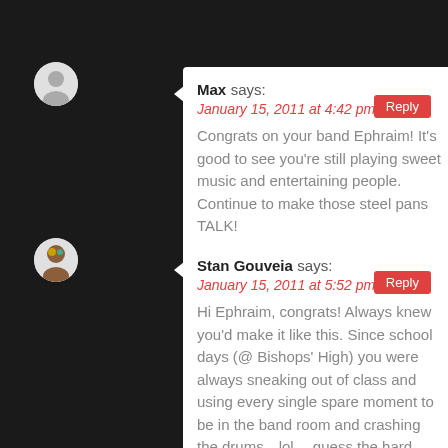Max says: January 15, 2011 at 4:42 pm — Congrats on your band Ephraim! It's good to see you're still playing sweet music and entertaining people. Continue to make those steel pans TALK!
Stan Gouveia says: January 15, 2011 at 5:52 pm — Hi Ephraim, congrats! Always knew you'd make it like this. Since school days (@ Bishops' High) you were always sneaking out of class and using every single spare moment to be in the band room and crashing the drums…lol….guess the hard work paid off! Congrats again